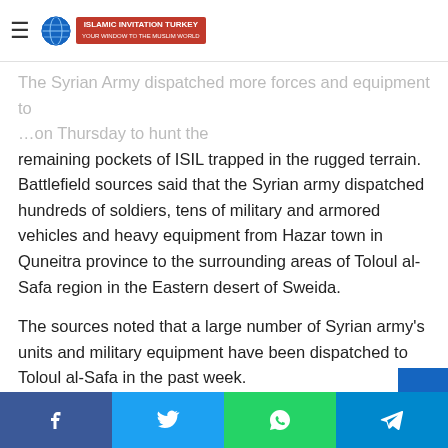Islamic Invitation Turkey (logo/navigation header)
The Syrian Army dispatched more forces and equipment to … on Thursday to hunt the remaining pockets of ISIL trapped in the rugged terrain. Battlefield sources said that the Syrian army dispatched hundreds of soldiers, tens of military and armored vehicles and heavy equipment from Hazar town in Quneitra province to the surrounding areas of Toloul al-Safa region in the Eastern desert of Sweida.
The sources noted that a large number of Syrian army's units and military equipment have been dispatched to Toloul al-Safa in the past week.
The Syrian Army's Special Forces who have participated in different battles of Damascus, Quneitra and Dara'a are also taking part in the anti-ISIL military operation in Sweida.
Social share bar: Facebook, Twitter, WhatsApp, Telegram